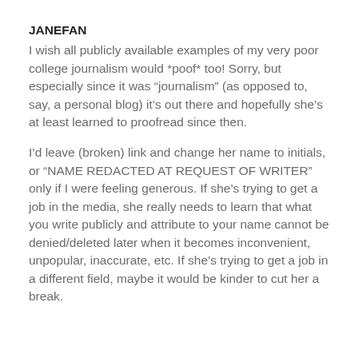JANEFAN
I wish all publicly available examples of my very poor college journalism would *poof* too! Sorry, but especially since it was “journalism” (as opposed to, say, a personal blog) it’s out there and hopefully she’s at least learned to proofread since then.
I’d leave (broken) link and change her name to initials, or “NAME REDACTED AT REQUEST OF WRITER” only if I were feeling generous. If she’s trying to get a job in the media, she really needs to learn that what you write publicly and attribute to your name cannot be denied/deleted later when it becomes inconvenient, unpopular, inaccurate, etc. If she’s trying to get a job in a different field, maybe it would be kinder to cut her a break.